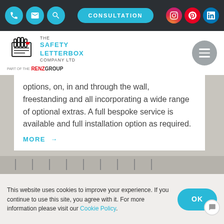Navigation bar with phone, email, search icons, CONSULTATION button, Instagram, Pinterest, LinkedIn social icons
[Figure (logo): The Safety Letterbox Company Ltd logo with hand holding envelopes graphic, part of the RENZ GROUP]
options, on, in and through the wall, freestanding and all incorporating a wide range of optional extras. A full bespoke service is available and full installation option as required.
MORE →
[Figure (photo): Background image of letterboxes/mailboxes in a row]
This website uses cookies to improve your experience. If you continue to use this site, you agree with it. For more information please visit our Cookie Policy.